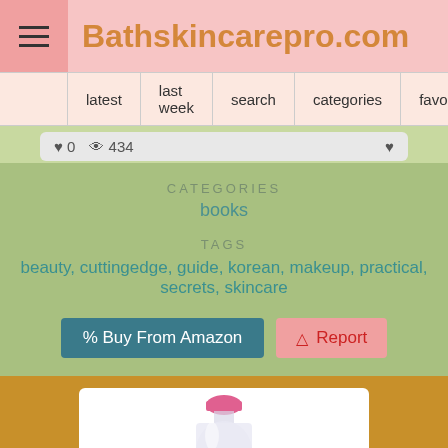Bathskincarepro.com
latest | last week | search | categories | favorites | share
♥ 0  👁 434
CATEGORIES
books
TAGS
beauty, cuttingedge, guide, korean, makeup, practical, secrets, skincare
% Buy From Amazon    ⚠ Report
[Figure (photo): Product bottle with pink cap on white background]